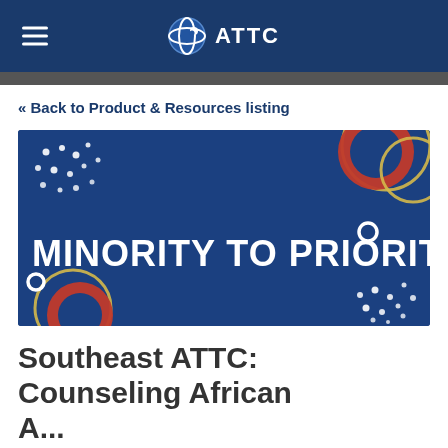ATTC
« Back to Product & Resources listing
[Figure (illustration): Banner image with dark blue background showing the text 'MINORITY TO PRIORITY' in white hand-drawn style lettering, with decorative elements including red and gold/yellow overlapping circles and white dot patterns in corners.]
Southeast ATTC: Counseling African A...